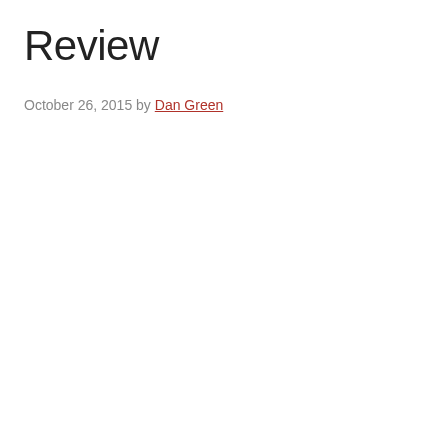Review
October 26, 2015 by Dan Green